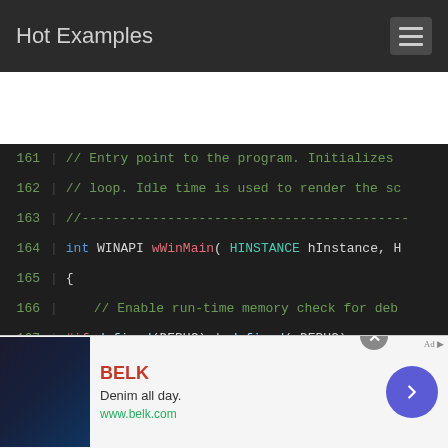Hot Examples
[Figure (screenshot): Code editor screenshot showing C++ source code lines 161-176 with syntax highlighting on dark background]
[Figure (infographic): Advertisement banner for BELK - Denim all day. www.belk.com]